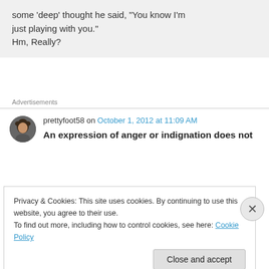some ‘deep’ thought he said, “You know I’m just playing with you.” Hm, Really?
Advertisements
prettyfoot58 on October 1, 2012 at 11:09 AM
An expression of anger or indignation does not
Privacy & Cookies: This site uses cookies. By continuing to use this website, you agree to their use.
To find out more, including how to control cookies, see here: Cookie Policy